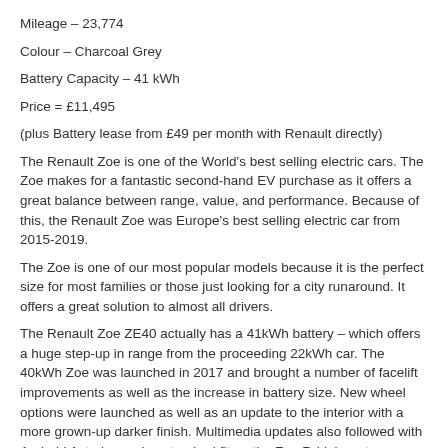Mileage – 23,774
Colour – Charcoal Grey
Battery Capacity – 41 kWh
Price = £11,495
(plus Battery lease from £49 per month with Renault directly)
The Renault Zoe is one of the World's best selling electric cars. The Zoe makes for a fantastic second-hand EV purchase as it offers a great balance between range, value, and performance. Because of this, the Renault Zoe was Europe's best selling electric car from 2015-2019.
The Zoe is one of our most popular models because it is the perfect size for most families or those just looking for a city runaround. It offers a great solution to almost all drivers.
The Renault Zoe ZE40 actually has a 41kWh battery – which offers a huge step-up in range from the proceeding 22kWh car. The 40kWh Zoe was launched in 2017 and brought a number of facelift improvements as well as the increase in battery size. New wheel options were launched as well as an update to the interior with a more grown-up darker finish. Multimedia updates also followed with Android Auto becoming standard fit on the Zoe R-Link system.
Features & Specifications